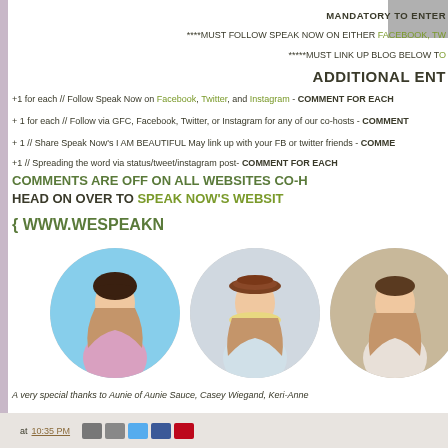MANDATORY TO ENTER
****MUST FOLLOW SPEAK NOW ON EITHER FACEBOOK, TWITTER, OR INSTAGRAM
*****MUST LINK UP BLOG BELOW TO
ADDITIONAL ENTRIES
+1 for each // Follow Speak Now on Facebook, Twitter, and Instagram - COMMENT FOR EACH
+ 1 for each // Follow via GFC, Facebook, Twitter, or Instagram for any of our co-hosts - COMMENT FOR EACH
+ 1 // Share Speak Now's I AM BEAUTIFUL May link up with your FB or twitter friends - COMMENT
+1 // Spreading the word via status/tweet/instagram post- COMMENT FOR EACH
COMMENTS ARE OFF ON ALL WEBSITES CO-HOSTING HEAD ON OVER TO SPEAK NOW'S WEBSITE { WWW.WESPEAKN...
[Figure (photo): Three circular portrait photos of women]
A very special thanks to Aunie of Aunie Sauce, Casey Wiegand, Keri-Anne...
at 10:35 PM [social share icons]